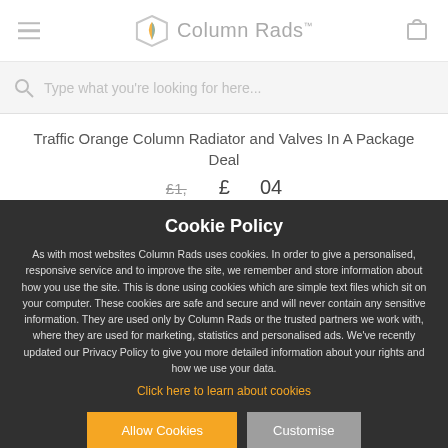Column Rads
Type what you're looking for here...
Traffic Orange Column Radiator and Valves In A Package Deal
£1,... £...04
Cookie Policy
As with most websites Column Rads uses cookies. In order to give a personalised, responsive service and to improve the site, we remember and store information about how you use the site. This is done using cookies which are simple text files which sit on your computer. These cookies are safe and secure and will never contain any sensitive information. They are used only by Column Rads or the trusted partners we work with, where they are used for marketing, statistics and personalised ads. We've recently updated our Privacy Policy to give you more detailed information about your rights and how we use your data.
Click here to learn about cookies
Allow Cookies
Customise